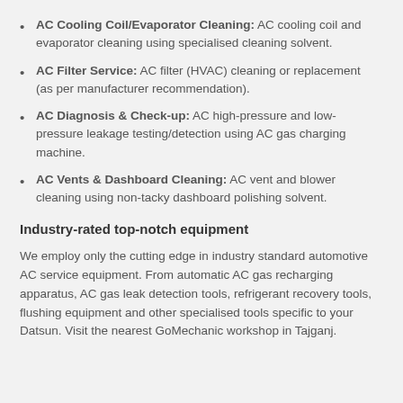AC Cooling Coil/Evaporator Cleaning: AC cooling coil and evaporator cleaning using specialised cleaning solvent.
AC Filter Service: AC filter (HVAC) cleaning or replacement (as per manufacturer recommendation).
AC Diagnosis & Check-up: AC high-pressure and low-pressure leakage testing/detection using AC gas charging machine.
AC Vents & Dashboard Cleaning: AC vent and blower cleaning using non-tacky dashboard polishing solvent.
Industry-rated top-notch equipment
We employ only the cutting edge in industry standard automotive AC service equipment. From automatic AC gas recharging apparatus, AC gas leak detection tools, refrigerant recovery tools, flushing equipment and other specialised tools specific to your Datsun. Visit the nearest GoMechanic workshop in Tajganj.